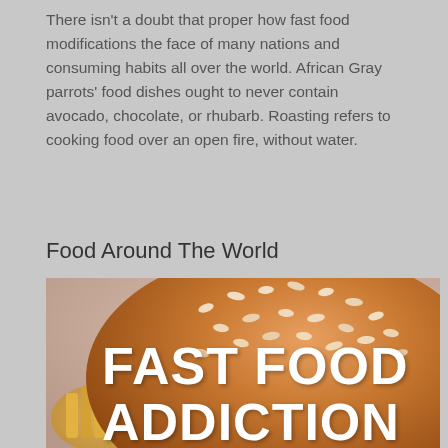There isn't a doubt that proper how fast food modifications the face of many nations and consuming habits all over the world. African Gray parrots' food dishes ought to never contain avocado, chocolate, or rhubarb. Roasting refers to cooking food over an open fire, without water.
Food Around The World
[Figure (photo): Close-up photo of a sesame seed burger bun with text overlay reading 'FAST FOOD ADDICTION' in large white bold letters]